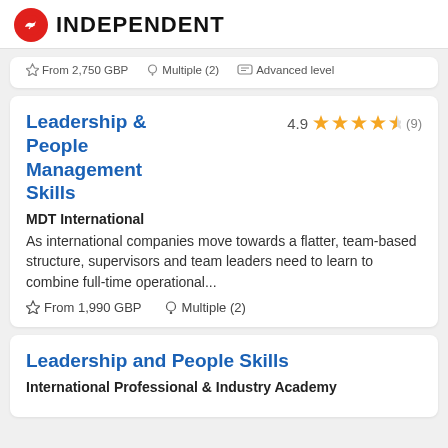INDEPENDENT
From 2,750 GBP  Multiple (2)  Advanced level
Leadership & People Management Skills
4.9  (9)
MDT International
As international companies move towards a flatter, team-based structure, supervisors and team leaders need to learn to combine full-time operational...
From 1,990 GBP  Multiple (2)
Leadership and People Skills
International Professional & Industry Academy